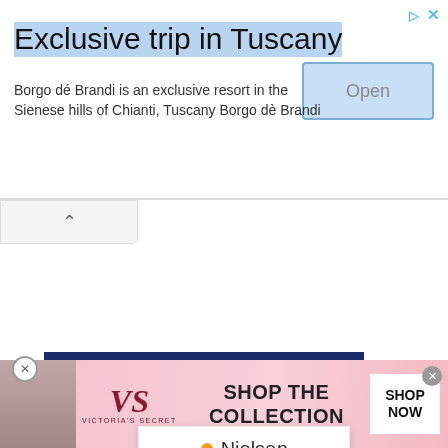[Figure (screenshot): Top advertisement banner for 'Exclusive trip in Tuscany' featuring Borgo dé Brandi resort, with an Open button and close/arrow icons]
Exclusive trip in Tuscany
Borgo dé Brandi is an exclusive resort in the Sienese hills of Chianti, Tuscany Borgo dè Brandi
[Figure (screenshot): Collapse/chevron button bar below the top ad]
[Figure (screenshot): Barrett Media Writers banner with close icon and horizontal lines]
[Figure (screenshot): Media Noise podcast thumbnail with BSM branding and purple background, overlaid with person photo and Nielsen logo overlay]
NEWS / 4 days ago
he Fan in Milwaukee Cancels Local Programming
[Figure (screenshot): Victoria's Secret bottom advertisement with woman photo, VS logo, 'SHOP THE COLLECTION' text, and 'SHOP NOW' button]